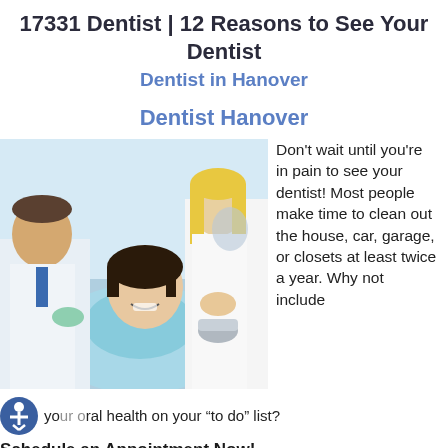17331 Dentist | 12 Reasons to See Your Dentist
Dentist in Hanover
Dentist Hanover
[Figure (photo): A female patient smiling in a dental chair, with a male dentist in a white coat and gloves on the left and a female dental assistant in white coat behind.]
Don't wait until you're in pain to see your dentist! Most people make time to clean out the house, car, garage, or closets at least twice a year. Why not include your oral health on your “to do” list?
Schedule an Appointment Now!